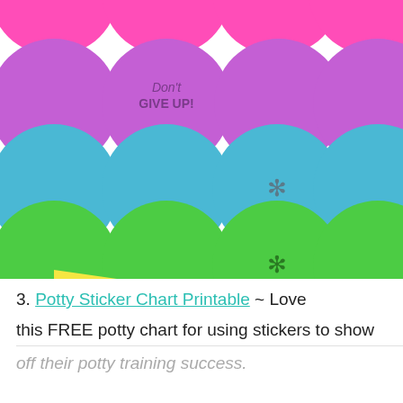[Figure (illustration): Colorful potty sticker chart showing rows of large circles in pink, purple, blue, and green colors. Some circles contain motivational text like 'Don't GIVE UP!' and decorative sticker symbols (flower/asterisk shapes). A small yellow shape is visible at the bottom left.]
3. Potty Sticker Chart Printable ~ Love
this FREE potty chart for using stickers to show
off their potty training success.